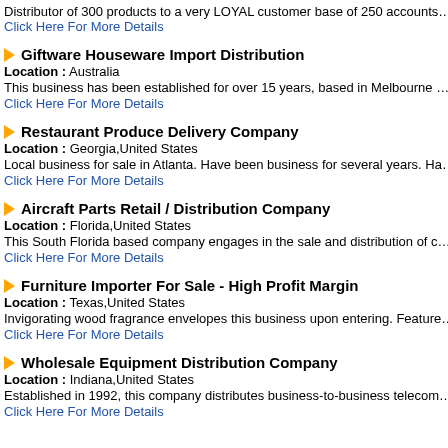Distributor of 300 products to a very LOYAL customer base of 250 accounts…
Click Here For More Details
Giftware Houseware Import Distribution
Location: Australia
This business has been established for over 15 years, based in Melbourne…
Click Here For More Details
Restaurant Produce Delivery Company
Location: Georgia,United States
Local business for sale in Atlanta. Have been business for several years. Ha…
Click Here For More Details
Aircraft Parts Retail / Distribution Company
Location: Florida,United States
This South Florida based company engages in the sale and distribution of c…
Click Here For More Details
Furniture Importer For Sale - High Profit Margin
Location: Texas,United States
Invigorating wood fragrance envelopes this business upon entering. Feature…
Click Here For More Details
Wholesale Equipment Distribution Company
Location: Indiana,United States
Established in 1992, this company distributes business-to-business telecom…
Click Here For More Details